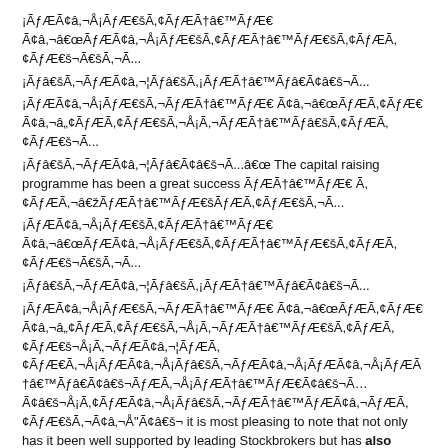¡ÃƒÆÃ¢â,¬Å¡ÃƒÆ€šÃ,¢ÃƒÆÃ†â€™ÃƒÆ€ Ã¢â,¬â„¢ÃƒÆÃ¢â,¬Å¡ÃƒÆ€šÃ,¢ÃƒÆÃ†â€™ÃƒÆ€šÃ,¢ÃƒÆÃ,¢ÃƒÆ€š¬Ã...
¡Ãƒâ€šÃ,¬ÃƒÆÃ¢â,¬¦Ãƒâ€šÃ,¡ÃƒÆÃ†â€™Ãƒâ€Ã¢â€š¬Ã...
¡ÃƒÆÃ¢â,¬Å¡ÃƒÆ€šÃ,¬ÃƒÆÃ†â€™ÃƒÆ€ Ã¢â,¬â„¢ÃƒÆÃ,¢ÃƒÆ€ÃƒÆ€šÃ,¬Å¡Ã...
¡Ãƒâ€šÃ,¬ÃƒÆÃ¢â,¬¦Ãƒâ€Ã¢â€š¬Ã...â€œ The capital raising programme has been a great success ÃƒÆÃ†â€™ÃƒÆ€ Ã¢â,¬â„¢ÃƒÆÃ,¢ÃƒÆ€šÃ,¬Ã¢â‚¬â€žÃƒÆÃ†â€™ÃƒÆ€šÃ¢â€š¬Ã...
¡ÃƒÆÃ¢â,¬Å¡ÃƒÆ€šÃ,¢ÃƒÆÃ†â€™ÃƒÆ€ Ã¢â,¬â„¢ÃƒÆÃ¢â,¬Å¡ÃƒÆ€šÃ,¢ÃƒÆÃ,¢ÃƒÆ€š¬Ã...
¡Ãƒâ€šÃ,¬ÃƒÆÃ¢â,¬¦Ãƒâ€šÃ,¡ÃƒÆÃ†â€™Ãƒâ€Ã¢â€š¬Ã...
¡ÃƒÆÃ¢â,¬Å¡ÃƒÆ€šÃ,¬ÃƒÆÃ†â€™ÃƒÆ€ Ã¢â,¬â„¢ÃƒÆÃ,¢ÃƒÆ€... it is most pleasing to note that not only has it been well supported by leading Stockbrokers but has also attracted substantial institutional funds normally reserved for the blue chip end of the market.
The fund raising will enable to...